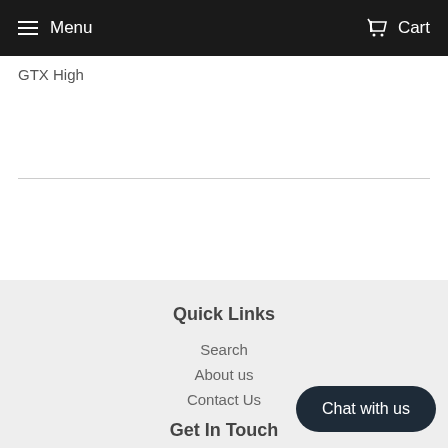Menu  Cart
GTX High
Quick Links
Search
About us
Contact Us
Get In Touch
Chat with us